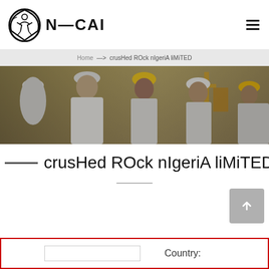[Figure (logo): N-CAI company logo with circular emblem showing a figure and shield, with bold text N-CAI]
Home > crusHed ROck nIgeriA liMiTED
[Figure (photo): Group of construction workers wearing hard hats (white, yellow, white, yellow) smiling, with industrial machinery in background]
crusHed ROck nIgeriA liMiTED
[Figure (other): Small thumbnail image, partially visible, green tones]
Country: